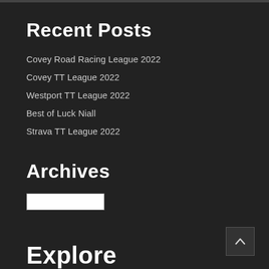Recent Posts
Covey Road Racing League 2022
Covey TT League 2022
Westport TT League 2022
Best of Luck Niall
Strava TT League 2022
Archives
Explore